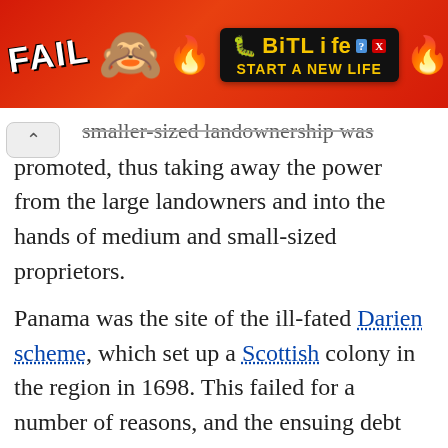[Figure (other): Advertisement banner for BitLife mobile game with red background, FAIL text, cartoon character, sperm icon, and 'START A NEW LIFE' tagline]
smaller-sized landownership was promoted, thus taking away the power from the large landowners and into the hands of medium and small-sized proprietors.
Panama was the site of the ill-fated Darien scheme, which set up a Scottish colony in the region in 1698. This failed for a number of reasons, and the ensuing debt contributed to the union of England and Scotland in 1707.[28]